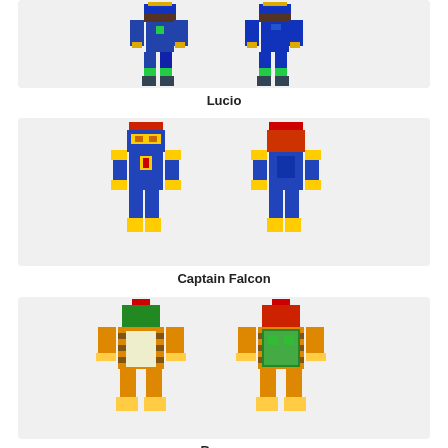[Figure (illustration): Minecraft skin of Lucio character shown from front and back, wearing blue armor with green accents]
Lucio
[Figure (illustration): Minecraft skin of Captain Falcon character shown from front and back, wearing blue suit with yellow/gold accents and red hair]
Captain Falcon
[Figure (illustration): Minecraft skin of Bowser character shown from front and back, with green and orange/gold striped body, red mohawk]
Bowser